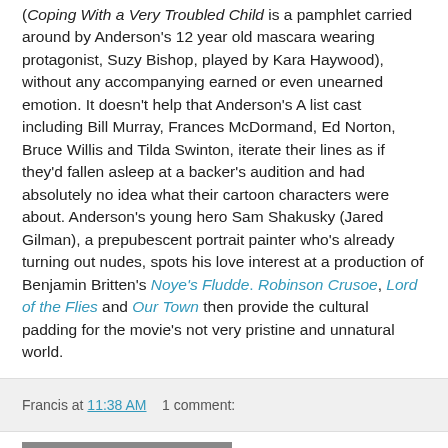(Coping With a Very Troubled Child is a pamphlet carried around by Anderson's 12 year old mascara wearing protagonist, Suzy Bishop, played by Kara Haywood), without any accompanying earned or even unearned emotion. It doesn't help that Anderson's A list cast including Bill Murray, Frances McDormand, Ed Norton, Bruce Willis and Tilda Swinton, iterate their lines as if they'd fallen asleep at a backer's audition and had absolutely no idea what their cartoon characters were about. Anderson's young hero Sam Shakusky (Jared Gilman), a prepubescent portrait painter who's already turning out nudes, spots his love interest at a production of Benjamin Britten's Noye's Fludde. Robinson Crusoe, Lord of the Flies and Our Town then provide the cultural padding for the movie's not very pristine and unnatural world.
Francis at 11:38 AM   1 comment:
Tuesday, June 12, 2012
The Hunch, the Pounce and the Kill